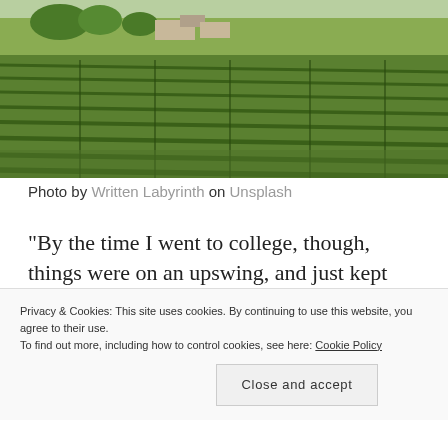[Figure (photo): Aerial/landscape photo of a vineyard with rows of grapevines on a hillside, trees and buildings visible in background, taken on a sunny day.]
Photo by Written Labyrinth on Unsplash
“By the time I went to college, though, things were on an upswing, and just kept swinging. Suddenly, it was the coolest thing in the world to bring friends and boyfriends to visit. Mom and Dad built the new
Privacy & Cookies: This site uses cookies. By continuing to use this website, you agree to their use.
To find out more, including how to control cookies, see here: Cookie Policy
Close and accept